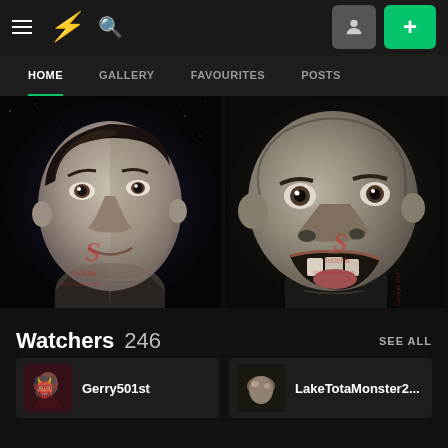[Figure (screenshot): DeviantArt mobile app top navigation bar with hamburger menu, DA logo, search icon, profile button, and green plus button]
[Figure (screenshot): Navigation tabs: HOME (active, underlined in green), GALLERY, FAVOURITES, POSTS]
[Figure (illustration): Two grayscale digital caricature artworks side by side: left shows a realistic portrait of a man in a suit with dark hair, right shows an exaggerated caricature of a bald man with an open mouth. Both have ScOhRa watermarks.]
Watchers 246
SEE ALL
Gerry501st
LakeTotaMonster2...